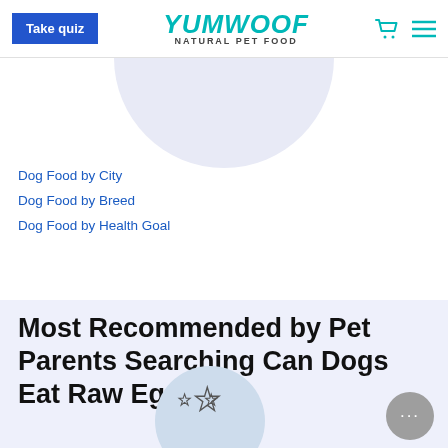Take quiz | YUMWOOF NATURAL PET FOOD
Dog Food by City
Dog Food by Breed
Dog Food by Health Goal
Most Recommended by Pet Parents Searching Can Dogs Eat Raw Eggs?